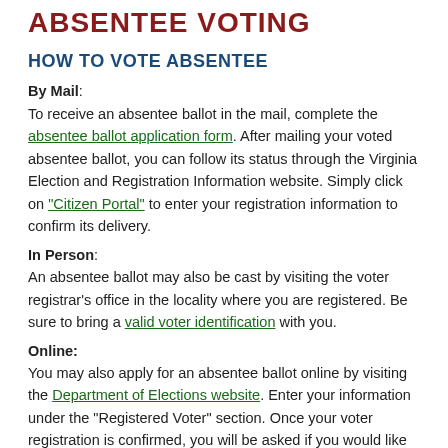ABSENTEE VOTING
HOW TO VOTE ABSENTEE
By Mail: To receive an absentee ballot in the mail, complete the absentee ballot application form. After mailing your voted absentee ballot, you can follow its status through the Virginia Election and Registration Information website. Simply click on "Citizen Portal" to enter your registration information to confirm its delivery.
In Person: An absentee ballot may also be cast by visiting the voter registrar's office in the locality where you are registered. Be sure to bring a valid voter identification with you.
Online: You may also apply for an absentee ballot online by visiting the Department of Elections website. Enter your information under the "Registered Voter" section. Once your voter registration is confirmed, you will be asked if you would like to apply for an absentee ballot. You will then follow the